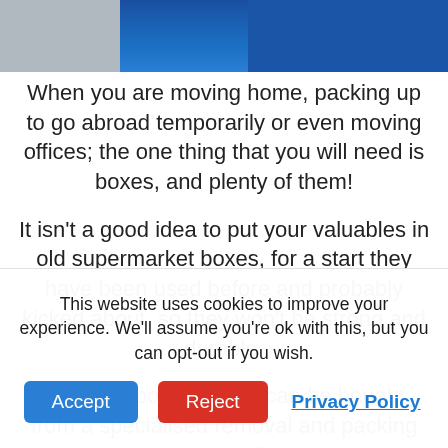[Figure (photo): Top banner photo showing a person in a blue jacket, partially cropped, with grey/concrete background on the left side.]
When you are moving home, packing up to go abroad temporarily or even moving offices; the one thing that you will need is boxes, and plenty of them!
It isn't a good idea to put your valuables in old supermarket boxes, for a start they have been used before and probably kicked about, so they won't be strong and durable.
The best boxes to use can be bought from a specialised removal and packing company like
This website uses cookies to improve your experience. We'll assume you're ok with this, but you can opt-out if you wish.
Accept
Reject
Privacy Policy